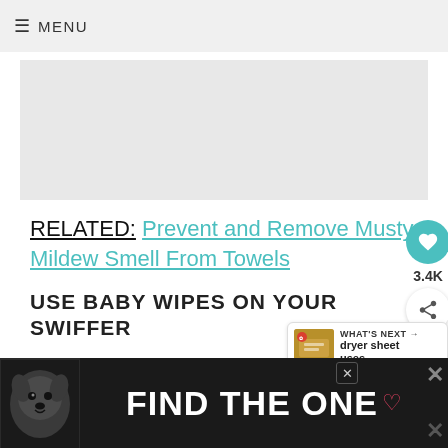≡ MENU
[Figure (other): Grey advertisement placeholder banner]
RELATED: Prevent and Remove Musty Mildew Smell From Towels
USE BABY WIPES ON YOUR SWIFFER
SO, I only do this occasionally, but baby wipes fit great on the Swiffer Sweeper and clean just as well. They just dry up faster th... same as.
[Figure (other): Bottom advertisement banner with dog image and text FIND THE ONE]
[Figure (other): What's Next promo widget: dryer sheet uses]